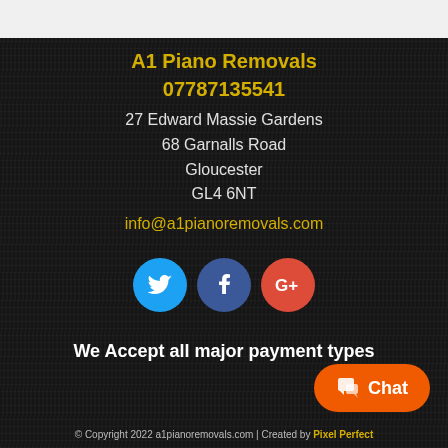A1 Piano Removals
07787135541
27 Edward Massie Gardens
68 Garnalls Road
Gloucester
GL4 6NT
info@a1pianoremovals.com
[Figure (infographic): Three social media icon buttons: Twitter (blue circle), Facebook (dark blue circle), Google+ (red circle)]
We Accept all major payment types
[Figure (infographic): Orange chat button with chat icon in bottom right]
© Copyright 2022 a1pianoremovals.com | Created by Pixel Perfect